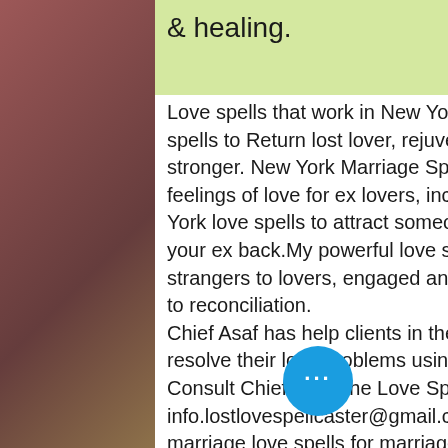& healing.
Love spells that work in New York Extreme Love spells in New York attraction spells to Return lost lover, rejuvenate your relationship & make your relationship stronger. New York Marriage Spells and lost love spells to bring back the feelings of love for ex lovers, increase love & intimacy in your relationship. New York love spells to attract someone, stop a divorce, prevent a break up & get your ex back.My powerful love spells in NY will help you find love turning from strangers to lovers, engaged and happily married, return lost love from Divorce to reconciliation.
Chief Asaf has help clients in the USA (United States of America) to spiritually resolve their love problems using USA love spells that work fast
Consult Chief Asaf (the Love Spells Priest ) at info.lostlovespellcaster@gmail.co love spells that work in the USA New York marriage love spells for marriage problems to heal a marriage